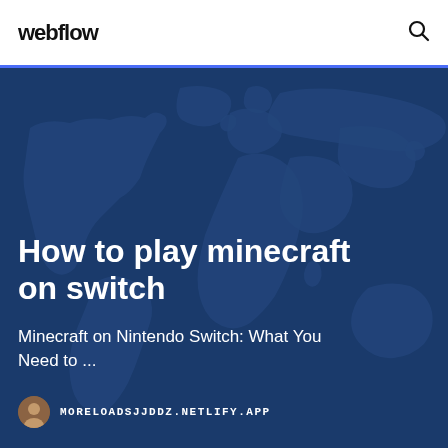webflow
[Figure (illustration): World map silhouette on dark blue background used as hero section backdrop]
How to play minecraft on switch
Minecraft on Nintendo Switch: What You Need to ...
MORELOADSJJDDZ.NETLIFY.APP